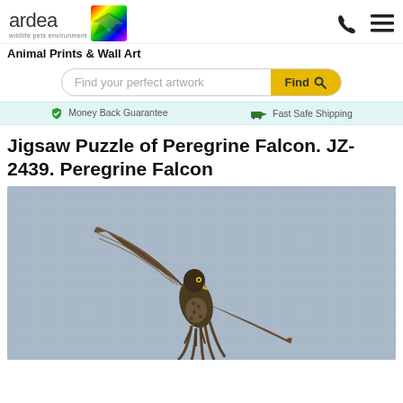[Figure (logo): Ardea wildlife pets environment logo with rainbow colored bird graphic]
Animal Prints & Wall Art
[Figure (screenshot): Search bar with placeholder 'Find your perfect artwork' and yellow Find button with magnifier icon]
Money Back Guarantee   Fast Safe Shipping
Jigsaw Puzzle of Peregrine Falcon. JZ-2439. Peregrine Falcon
[Figure (photo): Jigsaw puzzle image showing a Peregrine Falcon in flight with wings spread against a grey-blue sky background, puzzle pieces visible as texture overlay]